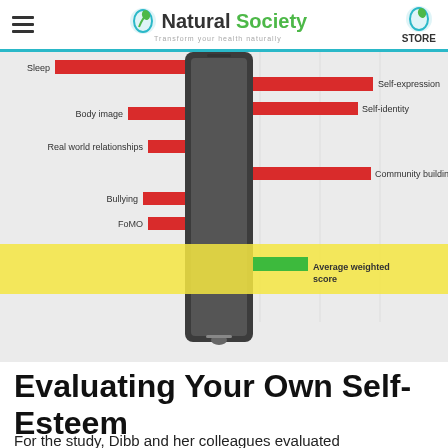Natural Society — Transform your health naturally | STORE
[Figure (infographic): Horizontal bar chart (partially cropped by smartphone image overlay) showing positive and negative effects of social media on various factors. Red bars extend left (negatives): Sleep, Body image, Real world relationships, Bullying, FoMO. Red bars extend right (positives): Self-expression, Self-identity, Community building. A green bar marks Average weighted score. Yellow band highlights the average score row.]
Evaluating Your Own Self-Esteem
For the study, Dibb and her colleagues evaluated